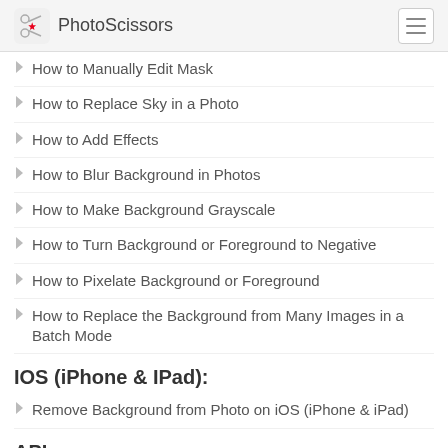PhotoScissors
How to Manually Edit Mask
How to Replace Sky in a Photo
How to Add Effects
How to Blur Background in Photos
How to Make Background Grayscale
How to Turn Background or Foreground to Negative
How to Pixelate Background or Foreground
How to Replace the Background from Many Images in a Batch Mode
IOS (iPhone & IPad):
Remove Background from Photo on iOS (iPhone & iPad)
API:
How to Remove Background…